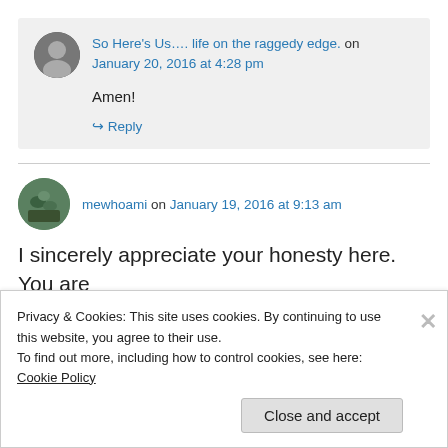So Here's Us.... life on the raggedy edge. on January 20, 2016 at 4:28 pm
Amen!
↳ Reply
mewhoami on January 19, 2016 at 9:13 am
I sincerely appreciate your honesty here. You are
Privacy & Cookies: This site uses cookies. By continuing to use this website, you agree to their use. To find out more, including how to control cookies, see here: Cookie Policy
Close and accept